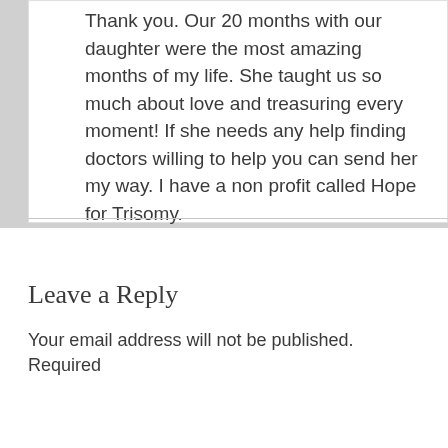Thank you. Our 20 months with our daughter were the most amazing months of my life. She taught us so much about love and treasuring every moment! If she needs any help finding doctors willing to help you can send her my way. I have a non profit called Hope for Trisomy.
★ Like
Reply →
Leave a Reply
Your email address will not be published. Required